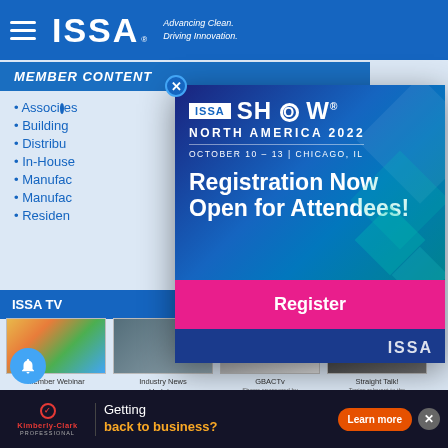ISSA — Advancing Clean. Driving Innovation.
MEMBER CONTENT
Associates
Building
Distribu...
In-House
Manufac...
Manufac...
Residen...
ISSA TV
[Figure (screenshot): ISSA Show North America 2022 promotional modal popup. Text reads: ISSA SHOW NORTH AMERICA 2022, OCTOBER 10 - 13 | CHICAGO, IL, Registration Now Open for Attendees!, with a pink Register button and ISSA logo. Blue geometric background with teal/green diamond shapes.]
[Figure (screenshot): Four ISSA TV video thumbnails: Member Webinar Center, Industry News Updates, GBACTv, Straight Talk!]
Getting back to business? Learn more — Kimberly-Clark Professional ad banner